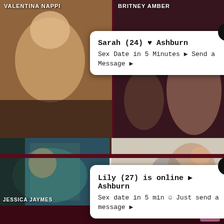[Figure (photo): Adult content website screenshot showing thumbnails with performer name VALENTINA NAPPI at top left]
VALENTINA NAPPI
BRITNEY AMBER
Sarah (24) ♥ Ashburn
Sex Date in 5 Minutes ⬥ Send a Message ⬥
Lily (27) is online ⬥ Ashburn
Sex date in 5 min ☺ Just send a message ⬥
JESSICA JAYMES
BLACK BEAUTY